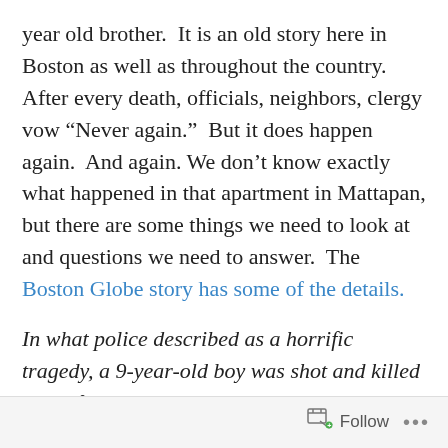year old brother.  It is an old story here in Boston as well as throughout the country.  After every death, officials, neighbors, clergy vow “Never again.”  But it does happen again.  And again. We don’t know exactly what happened in that apartment in Mattapan, but there are some things we need to look at and questions we need to answer.  The Boston Globe story has some of the details.
In what police described as a horrific tragedy, a 9-year-old boy was shot and killed in his family’s Mattapan apartment by his 14-year-old brother Friday morning, anguishing neighbors and prompting a plea from the city’s mayor for residents to surrender unwanted guns.
Just before noon on a school day, the older brother was
Follow ...